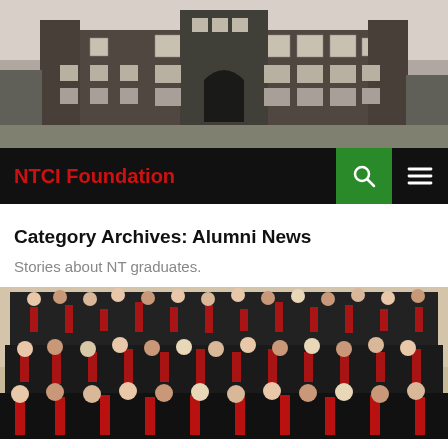[Figure (photo): Black and white photograph of a large multi-story brick school building with Gothic architectural details, arched entrance, and multiple windows]
NTCI Foundation
Category Archives: Alumni News
Stories about NT graduates.
[Figure (photo): Color photograph of a large choir or choral group dressed in black outfits with red accents, arranged in tiered rows on a stage]